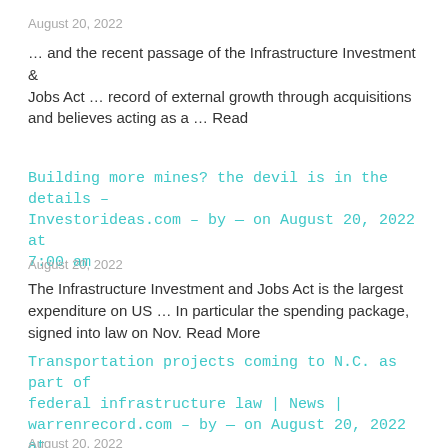August 20, 2022
… and the recent passage of the Infrastructure Investment & Jobs Act … record of external growth through acquisitions and believes acting as a … Read
Building more mines? the devil is in the details – Investorideas.com – by — on August 20, 2022 at 7:00 am
August 20, 2022
The Infrastructure Investment and Jobs Act is the largest expenditure on US … In particular the spending package, signed into law on Nov. Read More
Transportation projects coming to N.C. as part of federal infrastructure law | News | warrenrecord.com – by — on August 20, 2022 at 4:19 pm
August 20, 2022